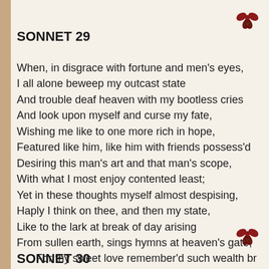[Figure (illustration): Small red decorative floral/holly ornament in top right corner]
SONNET 29
When, in disgrace with fortune and men's eyes,
I all alone beweep my outcast state
And trouble deaf heaven with my bootless cries
And look upon myself and curse my fate,
Wishing me like to one more rich in hope,
Featured like him, like him with friends possess'd
Desiring this man's art and that man's scope,
With what I most enjoy contented least;
Yet in these thoughts myself almost despising,
Haply I think on thee, and then my state,
Like to the lark at break of day arising
From sullen earth, sings hymns at heaven's gate;
    For thy sweet love remember'd such wealth brings
    That then I scorn to change my state with kings.
[Figure (illustration): Small red decorative floral/holly ornament in middle right area]
SONNET 30